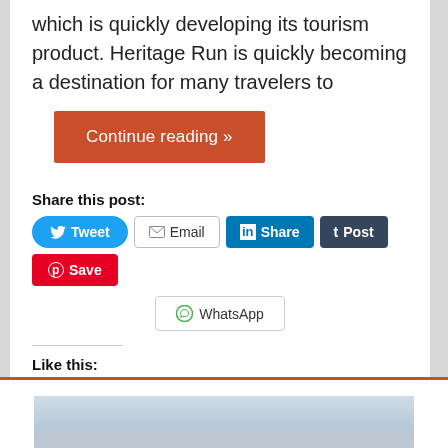which is quickly developing its tourism product. Heritage Run is quickly becoming a destination for many travelers to
Continue reading »
Share this post:
Tweet  Email  Share  Post  Save  WhatsApp
Like this:
3 bloggers like this.
[Figure (photo): Sky/landscape photo at bottom of page]